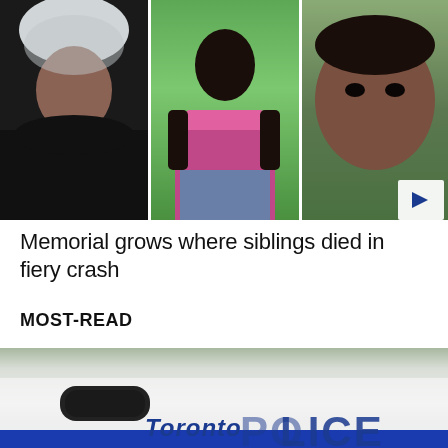[Figure (photo): Three photos side by side: a young man in a black puffer jacket with a white hood, a young woman in a pink crop top, and a young man with a close-up face shot. A play button overlay appears on the right side.]
Memorial grows where siblings died in fiery crash
MOST-READ
[Figure (photo): Photo of a Toronto Police Service vehicle showing the side door with 'Toronto' and 'POLICE' text in blue lettering on a white car body.]